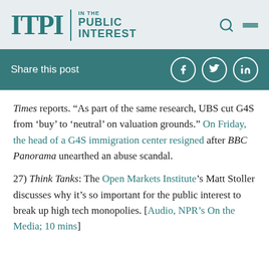ITPI | IN THE PUBLIC INTEREST
Share this post
Times reports. “As part of the same research, UBS cut G4S from ‘buy’ to ‘neutral’ on valuation grounds.” On Friday, the head of a G4S immigration center resigned after BBC Panorama unearthed an abuse scandal.
27) Think Tanks: The Open Markets Institute’s Matt Stoller discusses why it’s so important for the public interest to break up high tech monopolies. [Audio, NPR’s On the Media; 10 mins]